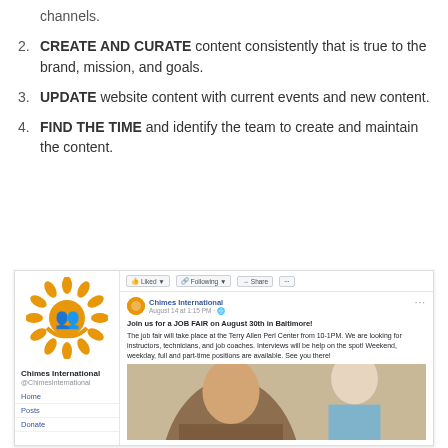channels.
2. CREATE AND CURATE content consistently that is true to the brand, mission, and goals.
3. UPDATE website content with current events and new content.
4. FIND THE TIME and identify the team to create and maintain the content.
[Figure (screenshot): Facebook page screenshot showing Chimes International page with logo, navigation items (Home, Posts, Donate), and a post about a JOB FAIR on August 30th in Baltimore at the Terry Allen Perl Center from 10-1PM.]